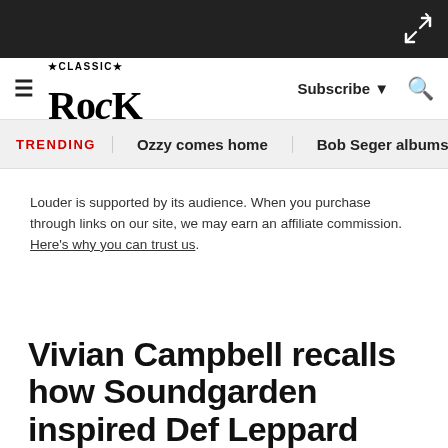Classic Rock
TRENDING   Ozzy comes home   Bob Seger albums ra
Louder is supported by its audience. When you purchase through links on our site, we may earn an affiliate commission. Here's why you can trust us.
Vivian Campbell recalls how Soundgarden inspired Def Leppard